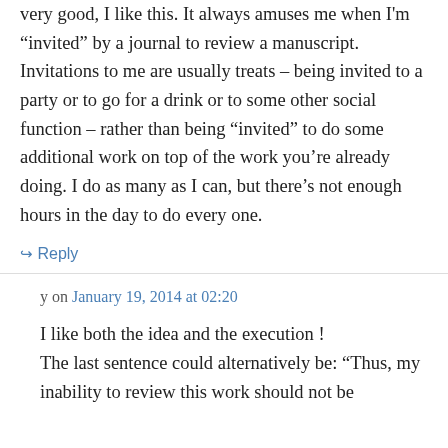very good, I like this. It always amuses me when I'm “invited” by a journal to review a manuscript. Invitations to me are usually treats – being invited to a party or to go for a drink or to some other social function – rather than being “invited” to do some additional work on top of the work you’re already doing. I do as many as I can, but there’s not enough hours in the day to do every one.
↪ Reply
y on January 19, 2014 at 02:20
I like both the idea and the execution ! The last sentence could alternatively be: “Thus, my inability to review this work should not be